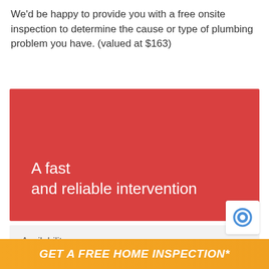We'd be happy to provide you with a free onsite inspection to determine the cause or type of plumbing problem you have. (valued at $163)
[Figure (illustration): Red banner with white text reading 'A fast and reliable intervention']
Availability
24 hours a day
[Figure (logo): reCAPTCHA logo icon]
GET A FREE HOME INSPECTION*